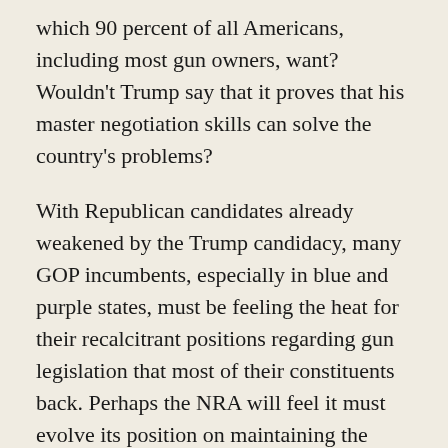which 90 percent of all Americans, including most gun owners, want? Wouldn't Trump say that it proves that his master negotiation skills can solve the country's problems?
With Republican candidates already weakened by the Trump candidacy, many GOP incumbents, especially in blue and purple states, must be feeling the heat for their recalcitrant positions regarding gun legislation that most of their constituents back. Perhaps the NRA will feel it must evolve its position on maintaining the rights of people suspected of terrorism or risk losing the Republican majorities that will keep every other type of gun safety legislation from passing.
But the public may not consider the internal